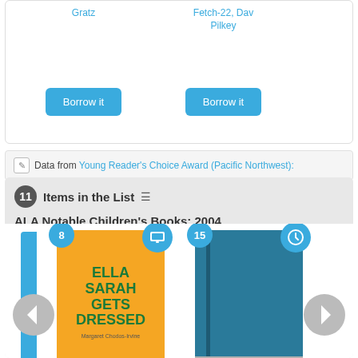Gratz
Fetch-22, Dav Pilkey
Borrow it
Borrow it
Data from Young Reader's Choice Award (Pacific Northwest):
11 Items in the List ALA Notable Children's Books: 2004
Ella Sarah Gets Dressed
The Tale of Despereaux